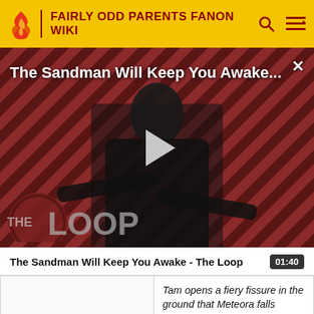FAIRLY ODD PARENTS FANON WIKI
[Figure (screenshot): Video thumbnail for 'The Sandman Will Keep You Awake...' with a dark-cloaked figure, diagonal striped red/black background, play button overlay, and 'THE LOOP' logo at bottom left.]
The Sandman Will Keep You Awake - The Loop  01:40
|  | Tam opens a fiery fissure in the ground that Meteora falls through. |
|  |  |